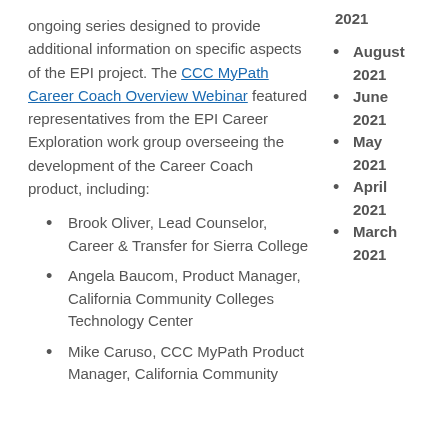ongoing series designed to provide additional information on specific aspects of the EPI project. The CCC MyPath Career Coach Overview Webinar featured representatives from the EPI Career Exploration work group overseeing the development of the Career Coach product, including:
Brook Oliver, Lead Counselor, Career & Transfer for Sierra College
Angela Baucom, Product Manager, California Community Colleges Technology Center
Mike Caruso, CCC MyPath Product Manager, California Community Colleges Technology Center
2021
August 2021
June 2021
May 2021
April 2021
March 2021